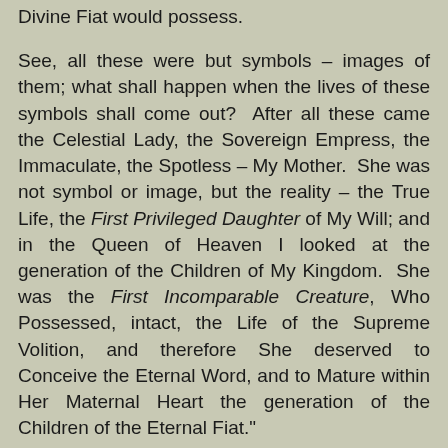but which, more than they did, the Children of My Divine Fiat would possess.
See, all these were but symbols – images of them; what shall happen when the lives of these symbols shall come out? After all these came the Celestial Lady, the Sovereign Empress, the Immaculate, the Spotless – My Mother. She was not symbol or image, but the reality – the True Life, the First Privileged Daughter of My Will; and in the Queen of Heaven I looked at the generation of the Children of My Kingdom. She was the First Incomparable Creature, Who Possessed, intact, the Life of the Supreme Volition, and therefore She deserved to Conceive the Eternal Word, and to Mature within Her Maternal Heart the generation of the Children of the Eternal Fiat."
Prayer: Holy Mama…I want to tell You many things; I want to enclose my pains, my fears, my weaknesses, and all my being in Your Maternal Heart, as the place of my Refuge – I